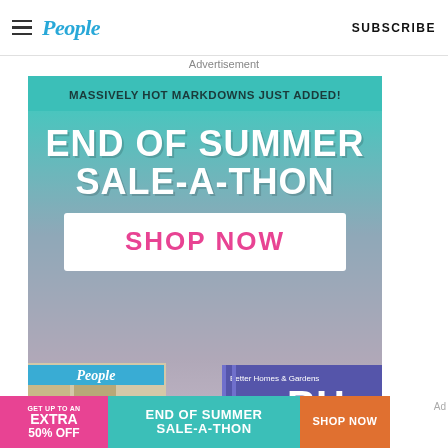People  SUBSCRIBE
Advertisement
[Figure (infographic): End of Summer Sale-A-Thon advertisement for People magazine subscription service. Teal header reads 'MASSIVELY HOT MARKDOWNS JUST ADDED!' followed by large white text 'END OF SUMMER SALE-A-THON' on a teal-to-purple gradient background with a white 'SHOP NOW' button in pink text. Bottom section shows People and Better Homes & Gardens magazine covers.]
[Figure (infographic): Bottom sticky ad banner: left pink section reads 'GET UP TO AN EXTRA 50% OFF', center teal section reads 'END OF SUMMER SALE-A-THON', right orange section reads 'SHOP NOW'.]